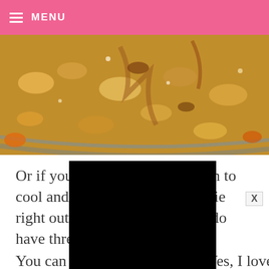≡ MENU
[Figure (photo): Close-up photo of baked pecan pie with crumble topping, warm golden-brown color]
Or if you just can't wait for them to cool and set up, enjoy a warm pie right out of the oven. Hey, you do have three.
You can also refrigerate them. Yes, I love my peca